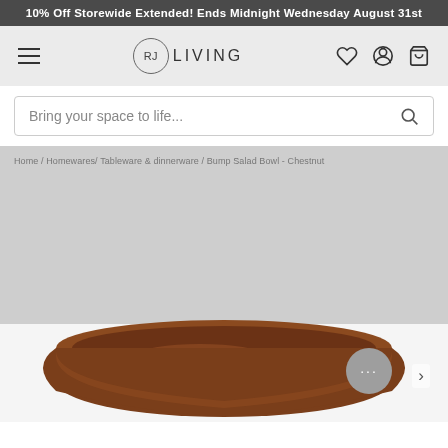10% Off Storewide Extended! Ends Midnight Wednesday August 31st
[Figure (screenshot): RJ Living website navigation bar with hamburger menu, RJ Living logo in circle, and icons for wishlist, account, and cart]
Bring your space to life...
Home / Homewares/ Tableware & dinnerware / Bump Salad Bowl - Chestnut
[Figure (photo): Chestnut brown ceramic salad bowl (Bump Salad Bowl - Chestnut) photographed on a white surface against a light grey background]